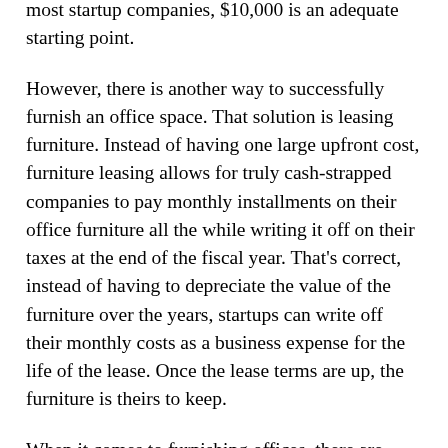most startup companies, $10,000 is an adequate starting point.
However, there is another way to successfully furnish an office space. That solution is leasing furniture. Instead of having one large upfront cost, furniture leasing allows for truly cash-strapped companies to pay monthly installments on their office furniture all the while writing it off on their taxes at the end of the fiscal year. That's correct, instead of having to depreciate the value of the furniture over the years, startups can write off their monthly costs as a business expense for the life of the lease. Once the lease terms are up, the furniture is theirs to keep.
When it comes to furnishing offices, there are many ways for entrepreneurs to lean on specialists but, unfortunately, most budding business owners do not know where to start looking and often end up spending up more than what they needed to. From space planning to leasing, the support and solutions for entrepreneurs and their first office is out there, just as long as they are looking in the right places.